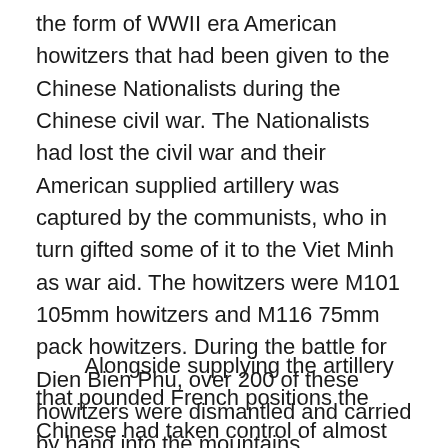the form of WWII era American howitzers that had been given to the Chinese Nationalists during the Chinese civil war. The Nationalists had lost the civil war and their American supplied artillery was captured by the communists, who in turn gifted some of it to the Viet Minh as war aid. The howitzers were M101 105mm howitzers and M116 75mm pack howitzers. During the battle for Dien Bien Phu, over 200 of these howitzers were dismantled and carried by hand into the mountains surrounding Dien Bien Phu. The unexpected presence of this heavy artillery directly supplied by the Chinese to the Viet Minh drastically aided the Viet Minh in the battle.
Alongside supplying the artillery that pounded French positions the Chinese had taken control of almost the entire operation at Dien Bien Phu...